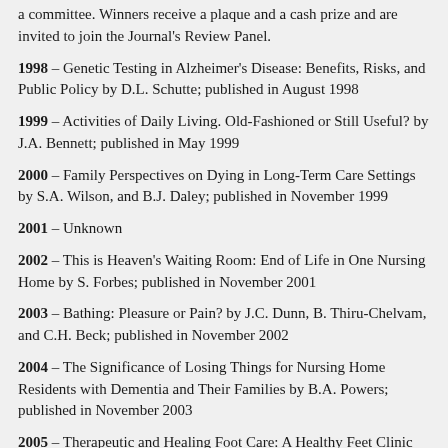a committee. Winners receive a plaque and a cash prize and are invited to join the Journal's Review Panel.
1998 – Genetic Testing in Alzheimer's Disease: Benefits, Risks, and Public Policy by D.L. Schutte; published in August 1998
1999 – Activities of Daily Living. Old-Fashioned or Still Useful? by J.A. Bennett; published in May 1999
2000 – Family Perspectives on Dying in Long-Term Care Settings by S.A. Wilson, and B.J. Daley; published in November 1999
2001 – Unknown
2002 – This is Heaven's Waiting Room: End of Life in One Nursing Home by S. Forbes; published in November 2001
2003 – Bathing: Pleasure or Pain? by J.C. Dunn, B. Thiru-Chelvam, and C.H. Beck; published in November 2002
2004 – The Significance of Losing Things for Nursing Home Residents with Dementia and Their Families by B.A. Powers; published in November 2003
2005 – Therapeutic and Healing Foot Care: A Healthy Feet Clinic for Older Adults by M.M. Pattillo; published in December 2004
2006 – Staff Perceptions of Caring: The Importance of a